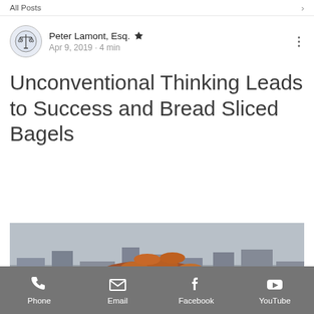All Posts
Peter Lamont, Esq. 👑
Apr 9, 2019 · 4 min
Unconventional Thinking Leads to Success and Bread Sliced Bagels
[Figure (photo): Blog post header image showing a person balancing a large tray of bagels on their head in a crowd, with text overlay reading 'Unconventional Thinking Leads to Success and Bread Sliced Bagels']
Phone  Email  Facebook  YouTube